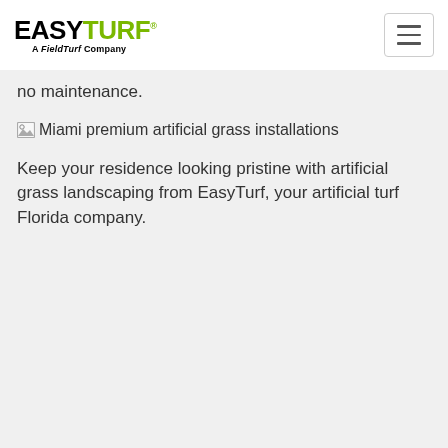EASYTURF® A FieldTurf Company
no maintenance.
[Figure (photo): Broken image placeholder for Miami premium artificial grass installations]
Miami premium artificial grass installations
Keep your residence looking pristine with artificial grass landscaping from EasyTurf, your artificial turf Florida company.